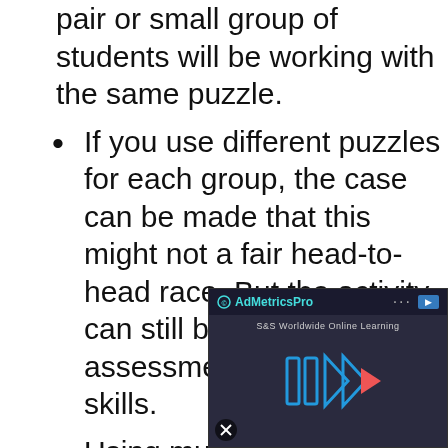pair or small group of students will be working with the same puzzle.
If you use different puzzles for each group, the case can be made that this might not a fair head-to-head race. But the activity can still be used as an assessment of cooperative skills.
Using multiple puzzle designs also enables you to use this activity over and over as a filler activity so long as students work different puzzles each time.
Before cut... into jigsaw... images; th... at the sam... students a... same num...
[Figure (screenshot): An ad overlay from AdMetricsPro showing a video player with S&S Worldwide Online Learning content, play button with blue triangles, and a mute icon.]